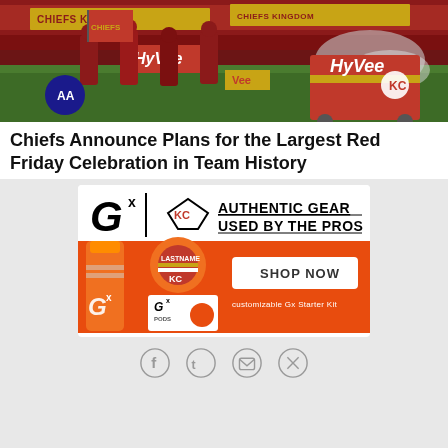[Figure (photo): Kansas City Chiefs players running onto field carrying red Chiefs Kingdom flags, with Hy-Vee sponsor branding visible on field equipment, stadium filled with red-clad fans]
Chiefs Announce Plans for the Largest Red Friday Celebration in Team History
[Figure (infographic): Gatorade GX advertisement featuring KC Chiefs branding. Header: AUTHENTIC GEAR USED BY THE PROS with Gatorade G logo and KC Chiefs arrowhead logo. Red background section showing orange Gatorade GX water bottle, customizable pod with LASTNAME label and KC Chiefs logo, and SHOP NOW button. Text: customizable Gx Starter Kit]
[Figure (other): Social sharing icons: Facebook, Twitter, Email, and link/share icon arranged in a row]